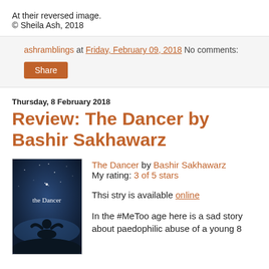At their reversed image.
© Sheila Ash, 2018
ashramblings at Friday, February 09, 2018   No comments:
Share
Thursday, 8 February 2018
Review: The Dancer by Bashir Sakhawarz
[Figure (photo): Book cover of 'the Dancer' showing a silhouetted figure against a dark blue starry sky]
The Dancer by Bashir Sakhawarz
My rating: 3 of 5 stars
Thsi stry is available online
In the #MeToo age here is a sad story about paedophilic abuse of a young 8